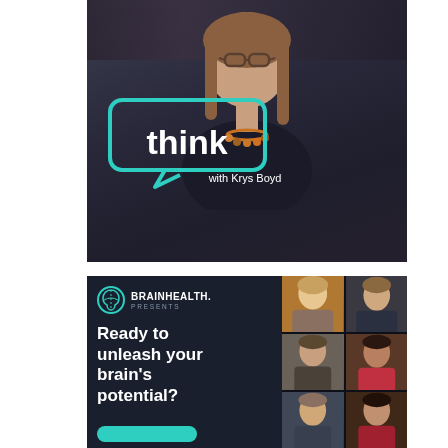[Figure (photo): Photo of Krys Boyd, a woman with glasses and long brown hair, wearing a dark top and colorful necklace, in front of a library background. Overlaid with a teal speech bubble logo containing the word 'think' and text 'with Krys Boyd'.]
[Figure (photo): Brain Health Presents advertisement on dark navy background. Left side shows brain logo, 'BRAIN HEALTH. PRESENTS' text, and large white text 'Ready to unleash your brain's potential?'. Right side shows a 2x3 grid of headshots of various speakers/experts.]